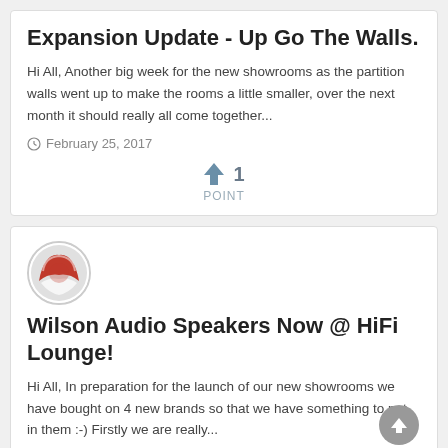Expansion Update - Up Go The Walls.
Hi All, Another big week for the new showrooms as the partition walls went up to make the rooms a little smaller, over the next month it should really all come together...
February 25, 2017
↑ 1
POINT
[Figure (logo): Circular logo with red and white design]
Wilson Audio Speakers Now @ HiFi Lounge!
Hi All, In preparation for the launch of our new showrooms we have bought on 4 new brands so that we have something to put in them :-) Firstly we are really...